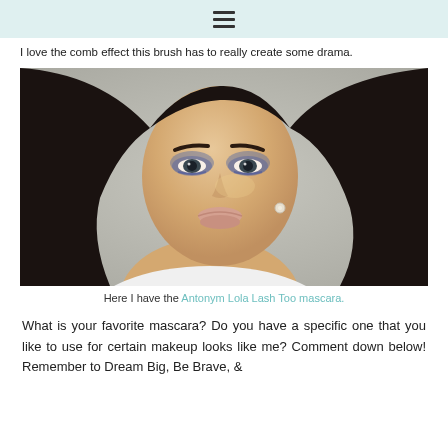≡
I love the comb effect this brush has to really create some drama.
[Figure (photo): Close-up portrait of a young woman with dark hair, dramatic smoky eye makeup in grey/blue tones, wearing a white top and pearl earring, bokeh lights in background]
Here I have the Antonym Lola Lash Too mascara.
What is your favorite mascara? Do you have a specific one that you like to use for certain makeup looks like me? Comment down below! Remember to Dream Big, Be Brave, &